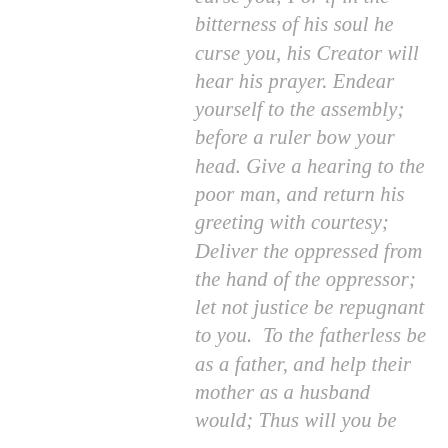curse you; For if in the bitterness of his soul he curse you, his Creator will hear his prayer. Endear yourself to the assembly; before a ruler bow your head. Give a hearing to the poor man, and return his greeting with courtesy; Deliver the oppressed from the hand of the oppressor; let not justice be repugnant to you.  To the fatherless be as a father, and help their mother as a husband would; Thus will you be